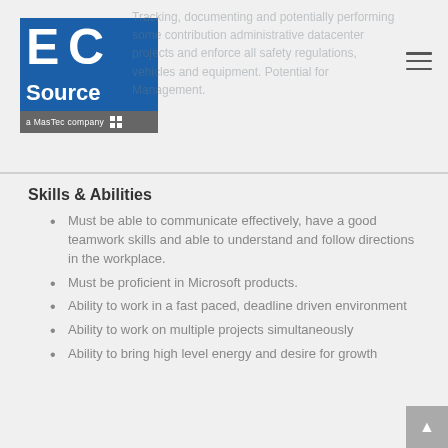[Figure (logo): EC Source - a MasTec company logo, blue square with white EC letters and Source text below, gray mastec company bar at bottom]
Tracking, documenting and potentially performing some contribution administrative datacenter projects and enforce all safety regulations, vehicles and equipment. Potential for Management.
Skills & Abilities
Must be able to communicate effectively, have a good teamwork skills and able to understand and follow directions in the workplace.
Must be proficient in Microsoft products.
Ability to work in a fast paced, deadline driven environment
Ability to work on multiple projects simultaneously
Ability to bring high level energy and desire for growth